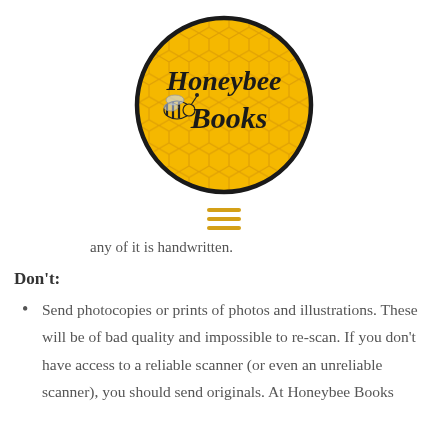[Figure (logo): Honeybee Books logo — a circular badge with golden honeycomb texture background, a black outline circle border, a honeybee illustration on the left side, and the text 'Honeybee Books' in cursive black script in the center.]
[Figure (other): Hamburger menu icon made of three horizontal golden/amber-colored lines.]
any of it is handwritten.
Don't:
Send photocopies or prints of photos and illustrations. These will be of bad quality and impossible to re-scan. If you don't have access to a reliable scanner (or even an unreliable scanner), you should send originals. At Honeybee Books